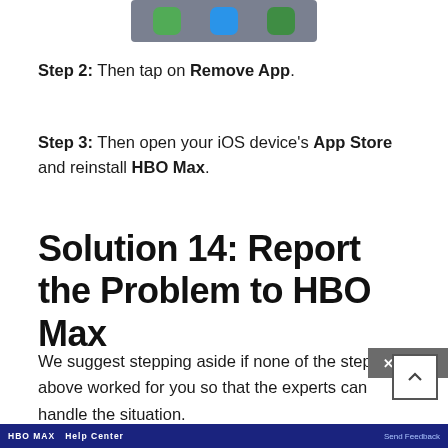[Figure (screenshot): Partial screenshot of iOS app icons at the top of the page]
Step 2: Then tap on Remove App.
Step 3: Then open your iOS device's App Store and reinstall HBO Max.
Solution 14: Report the Problem to HBO Max
We suggest stepping aside if none of the steps above worked for you so that the experts can handle the situation.
[Figure (screenshot): Bottom portion of HBO Max Help Center webpage screenshot]